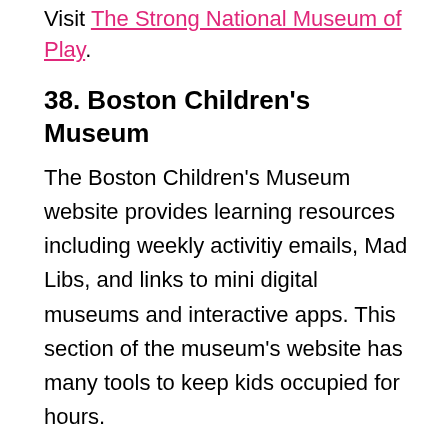Visit The Strong National Museum of Play.
38. Boston Children's Museum
The Boston Children's Museum website provides learning resources including weekly activitiy emails, Mad Libs, and links to mini digital museums and interactive apps. This section of the museum's website has many tools to keep kids occupied for hours.
Visit Boston Children's Museum.
List of online national park tours
Here is a list of national parks to visit online.